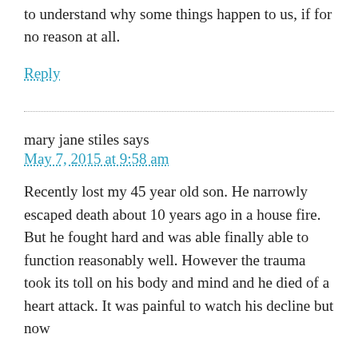to understand why some things happen to us, if for no reason at all.
Reply
mary jane stiles says
May 7, 2015 at 9:58 am
Recently lost my 45 year old son. He narrowly escaped death about 10 years ago in a house fire. But he fought hard and was able finally able to function reasonably well. However the trauma took its toll on his body and mind and he died of a heart attack. It was painful to watch his decline but now